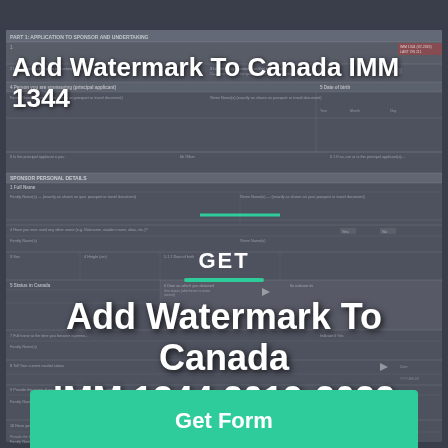[Figure (screenshot): Background showing Canada IMM 1344 immigration form fields, dimmed/dark overlay, with form rows for sponsor and personal details]
Add Watermark To Canada IMM 1344
GET
Add Watermark To Canada IMM 1344 2019-2022
Get Form